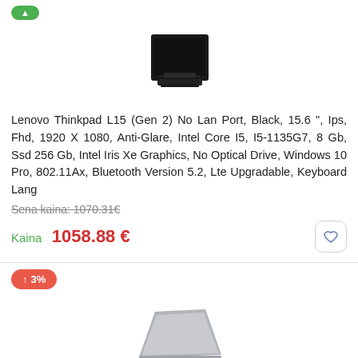[Figure (photo): Lenovo ThinkPad L15 product image, black color, viewed from front-top angle]
Lenovo Thinkpad L15 (Gen 2) No Lan Port, Black, 15.6 ", Ips, Fhd, 1920 X 1080, Anti-Glare, Intel Core I5, I5-1135G7, 8 Gb, Ssd 256 Gb, Intel Iris Xe Graphics, No Optical Drive, Windows 10 Pro, 802.11Ax, Bluetooth Version 5.2, Lte Upgradable, Keyboard Lang
Sena kaina: 1070.31€
Kaina 1058.88 €
[Figure (photo): Lenovo ThinkBook 15 Gen 2 product image, ITL Grey, silver/grey color, viewed from back-side angle]
Lenovo Thinkbook 15 (Gen 2) Itl Grey, 15.6 ", Ips, Fhd, 1920 X 1080, Anti-Glare, Intel Core I5, I5-1135G7, 8 Gb, Ssd 256 Gb, Intel Iris Xe Graphics, No Optical Drive, Windows 11